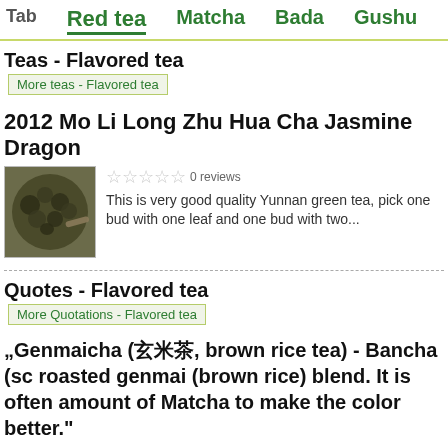Tab  Red tea  Matcha  Bada  Gushu
Teas - Flavored tea
More teas - Flavored tea
2012 Mo Li Long Zhu Hua Cha Jasmine Dragon
[Figure (photo): Close-up photo of rolled jasmine dragon pearl tea balls on a spoon]
0 reviews
This is very good quality Yunnan green tea, pick one bud with one leaf and one bud with two...
Quotes - Flavored tea
More Quotations - Flavored tea
"Genmaicha (玄米茶, brown rice tea) - Bancha (so roasted genmai (brown rice) blend. It is often amount of Matcha to make the color better."
Source Web: Japanese green tea[online]. Wikipedia. Available at <http://en.wikipedia.org/wiki/Green_tea>. [q475] [s61]